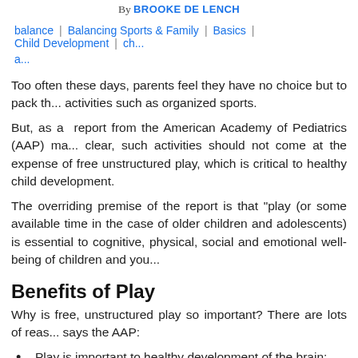By BROOKE DE LENCH
balance | Balancing Sports & Family | Basics | Child Development | ch... a...
Too often these days, parents feel they have no choice but to pack th... activities such as organized sports.
But, as a report from the American Academy of Pediatrics (AAP) ma... clear, such activities should not come at the expense of free unstructured play, which is critical to healthy child development.
The overriding premise of the report is that "play (or some available time in the case of older children and adolescents) is essential to cognitive, physical, social and emotional well-being of children and you...
Benefits of Play
Why is free, unstructured play so important? There are lots of reas... says the AAP:
Play is important to healthy development of the brain;
Undirected play helps children learn how to work collaborativ...